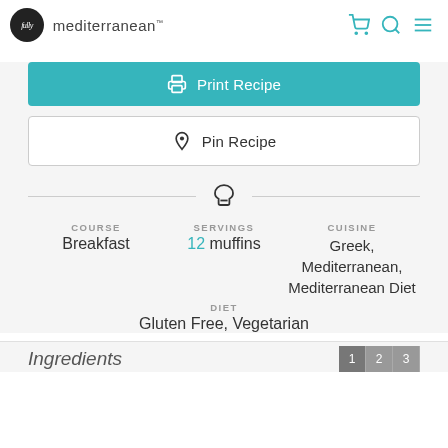fully mediterranean
Print Recipe
Pin Recipe
COURSE
Breakfast
SERVINGS
12 muffins
CUISINE
Greek, Mediterranean, Mediterranean Diet
DIET
Gluten Free, Vegetarian
Ingredients